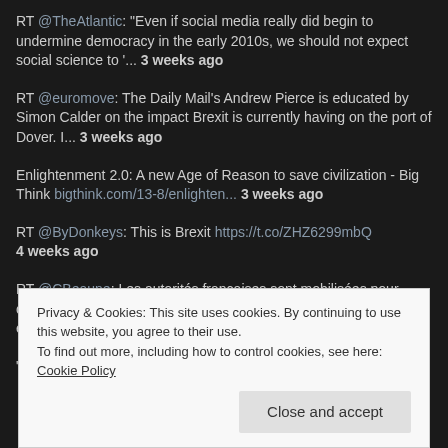RT @TheAtlantic: "Even if social media really did begin to undermine democracy in the early 2010s, we should not expect social science to '... 3 weeks ago
RT @euromove: The Daily Mail's Andrew Pierce is educated by Simon Calder on the impact Brexit is currently having on the port of Dover. I... 3 weeks ago
Enlightenment 2.0: A new Age of Reason to save civilization - Big Think bigthink.com/13-8/enlighten... 3 weeks ago
RT @ByDonkeys: This is Brexit https://t.co/ZHZ6299mbQ 4 weeks ago
RT @CBeaune: Les autorités françaises sont mobilisées pour contrôler nos frontières et faciliter le trafic autant que possible. J'ai échang... 1 month ago
Privacy & Cookies: This site uses cookies. By continuing to use this website, you agree to their use.
To find out more, including how to control cookies, see here: Cookie Policy
Close and accept